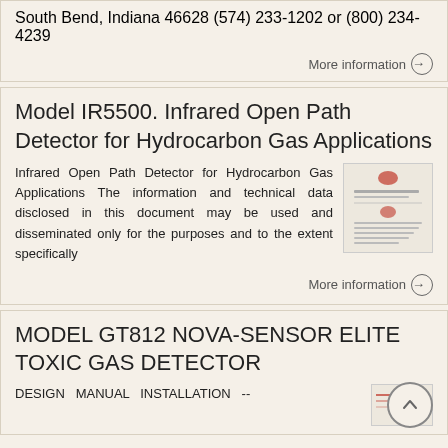South Bend, Indiana 46628 (574) 233-1202 or (800) 234-4239
More information →
Model IR5500. Infrared Open Path Detector for Hydrocarbon Gas Applications
Infrared Open Path Detector for Hydrocarbon Gas Applications The information and technical data disclosed in this document may be used and disseminated only for the purposes and to the extent specifically
[Figure (photo): Thumbnail image of a document page for Model IR5500]
More information →
MODEL GT812 NOVA-SENSOR ELITE TOXIC GAS DETECTOR
DESIGN MANUAL INSTALLATION --